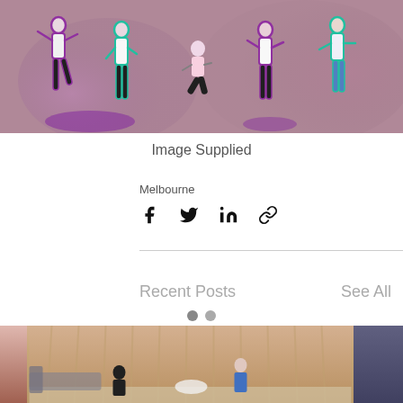[Figure (photo): Group of dancers posing on a colorful background with purple and teal outlines/glow effects around them]
Image Supplied
Melbourne
[Figure (infographic): Social share icons: Facebook, Twitter, LinkedIn, link/copy icons]
[Figure (photo): Recent Posts section showing a theatre or living room scene with curtains, two figures on stage, and navigation dots. A back-to-top arrow button is visible on the right.]